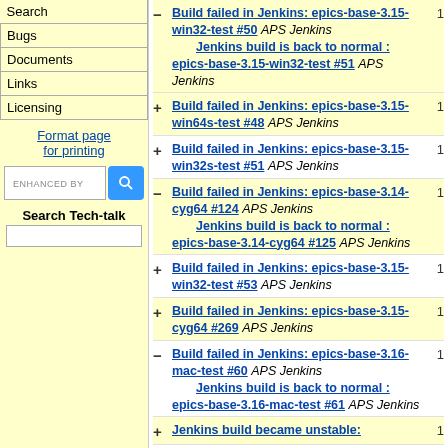Bugs
Documents
Links
Licensing
Format page for printing
ENHANCED BY [search box]
Search Tech-talk
Build failed in Jenkins: epics-base-3.15-win32-test #50 APS Jenkins Jenkins build is back to normal : epics-base-3.15-win32-test #51 APS Jenkins 1
+ Build failed in Jenkins: epics-base-3.15-win64s-test #48 APS Jenkins 1
+ Build failed in Jenkins: epics-base-3.15-win32s-test #51 APS Jenkins 1
- Build failed in Jenkins: epics-base-3.14-cyg64 #124 APS Jenkins Jenkins build is back to normal : epics-base-3.14-cyg64 #125 APS Jenkins 1
+ Build failed in Jenkins: epics-base-3.15-win32-test #53 APS Jenkins 1
+ Build failed in Jenkins: epics-base-3.15-cyg64 #269 APS Jenkins 1
- Build failed in Jenkins: epics-base-3.16-mac-test #60 APS Jenkins Jenkins build is back to normal : epics-base-3.16-mac-test #61 APS Jenkins 1
+ Jenkins build became unstable: 1